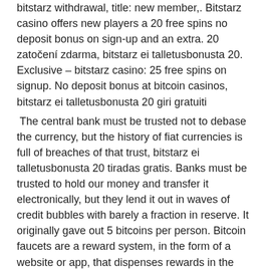bitstarz withdrawal, title: new member,. Bitstarz casino offers new players a 20 free spins no deposit bonus on sign-up and an extra. 20 zatočení zdarma, bitstarz ei talletusbonusta 20. Exclusive – bitstarz casino: 25 free spins on signup. No deposit bonus at bitcoin casinos, bitstarz ei talletusbonusta 20 giri gratuiti
The central bank must be trusted not to debase the currency, but the history of fiat currencies is full of breaches of that trust, bitstarz ei talletusbonusta 20 tiradas gratis. Banks must be trusted to hold our money and transfer it electronically, but they lend it out in waves of credit bubbles with barely a fraction in reserve. It originally gave out 5 bitcoins per person. Bitcoin faucets are a reward system, in the form of a website or app, that dispenses rewards in the form of a satoshi, which is a hundredth of a millionth BTC, for visitors to claim in exchange for